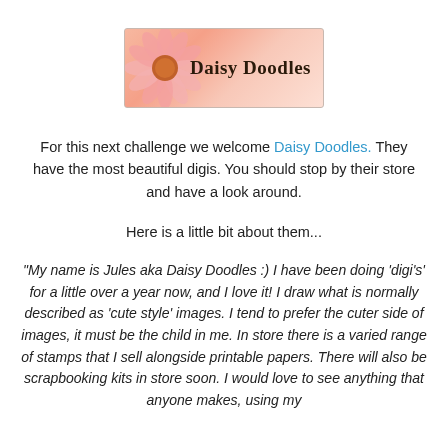[Figure (logo): Daisy Doodles logo: pink/salmon background with a daisy flower on the left and stylized text 'Daisy Doodles' in dark handwritten font on the right, inside a light-bordered rectangle.]
For this next challenge we welcome Daisy Doodles. They have the most beautiful digis. You should stop by their store and have a look around.
Here is a little bit about them...
"My name is Jules aka Daisy Doodles :) I have been doing 'digi's' for a little over a year now, and I love it! I draw what is normally described as 'cute style' images. I tend to prefer the cuter side of images, it must be the child in me. In store there is a varied range of stamps that I sell alongside printable papers. There will also be scrapbooking kits in store soon. I would love to see anything that anyone makes, using my